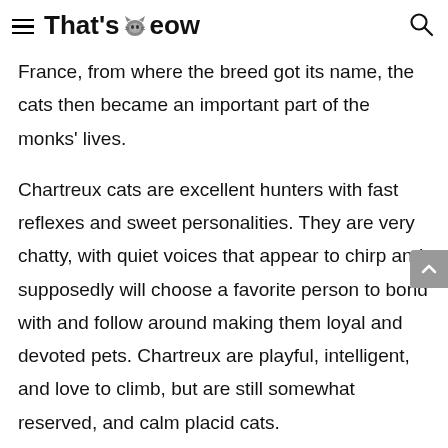That'sMeow
France, from where the breed got its name, the cats then became an important part of the monks' lives.
Chartreux cats are excellent hunters with fast reflexes and sweet personalities. They are very chatty, with quiet voices that appear to chirp and supposedly will choose a favorite person to bond with and follow around making them loyal and devoted pets. Chartreux are playful, intelligent, and love to climb, but are still somewhat reserved, and calm placid cats.